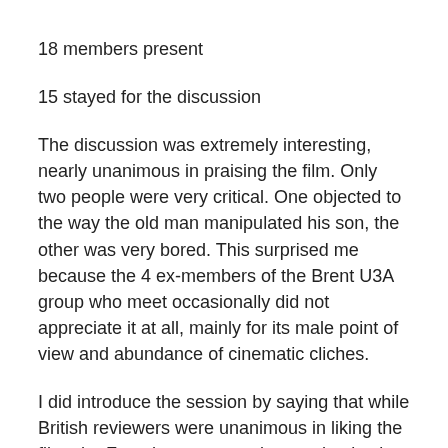18 members present
15 stayed for the discussion
The discussion was extremely interesting, nearly unanimous in praising the film. Only two people were very critical. One objected to the way the old man manipulated his son, the other was very bored. This surprised me because the 4 ex-members of the Brent U3A group who meet occasionally did not appreciate it at all, mainly for its male point of view and abundance of cinematic cliches.
I did introduce the session by saying that while British reviewers were unanimous in liking the film, the French press were less enthusiastic.
Below are the main recorded points of the discussion.